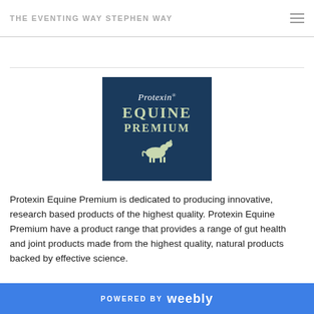THE EVENTING WAY STEPHEN WAY
[Figure (logo): Protexin Equine Premium logo — dark navy blue square with 'Protexin' in white italic serif, 'EQUINE PREMIUM' in large gold/sage serif letters, and a gold horse silhouette below]
Protexin Equine Premium is dedicated to producing innovative, research based products of the highest quality. Protexin Equine Premium have a product range that provides a range of gut health and joint products made from the highest quality, natural products backed by effective science.
POWERED BY weebly